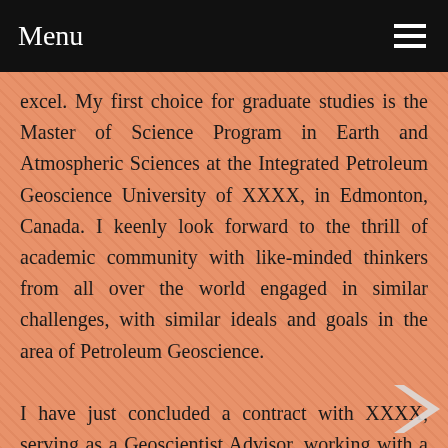Menu
excel. My first choice for graduate studies is the Master of Science Program in Earth and Atmospheric Sciences at the Integrated Petroleum Geoscience University of XXXX, in Edmonton, Canada. I keenly look forward to the thrill of academic community with like-minded thinkers from all over the world engaged in similar challenges, with similar ideals and goals in the area of Petroleum Geoscience.

I have just concluded a contract with XXXX, serving as a Geoscientist Advisor, working with a team of five geoscientists in Luanda, Angola. My foremost interest at this time and the area of investigative research in which I hope to distinguish myself as a graduate student and beyond is in the characterization, formation, and evaluation of unconventional reservoirs. I hold a Diploma in Applied